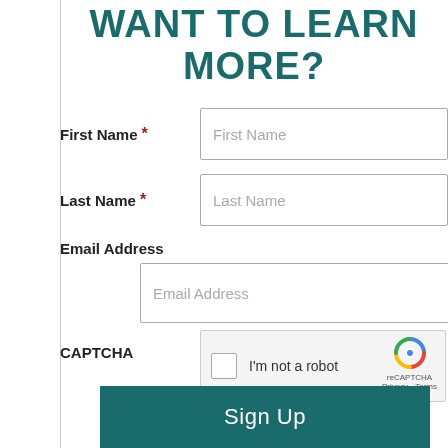WANT TO LEARN MORE?
First Name *
Last Name *
Email Address
CAPTCHA
[Figure (other): reCAPTCHA widget with checkbox labeled 'I'm not a robot' and reCAPTCHA logo with Privacy - Terms links]
Sign Up